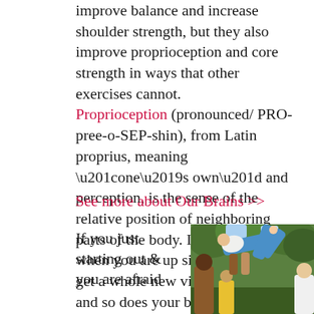improve balance and increase shoulder strength, but they also improve proprioception and core strength in ways that other exercises cannot. Proprioception (pronounced/ PRO-pree-o-SEP-shin), from Latin proprius, meaning “one’s own” and perception, is the sense of the relative position of neighboring parts of the body. In other words, when you are up side down you get a whole new view of the world and so does your brain, which thrives on new stimulus.
See more about Our Brains >>
If you just starting out & you are afraid
[Figure (photo): Outdoor acrobatics scene showing a person in blue pants being lifted horizontally in the air, surrounded by onlookers, with green trees in the background.]